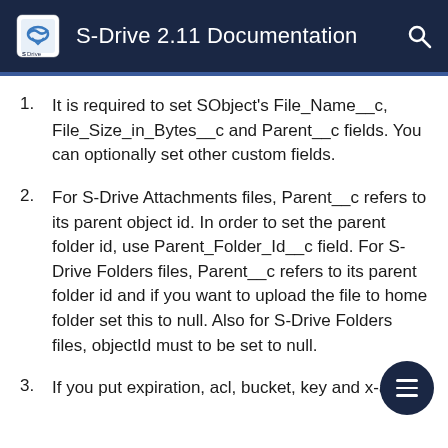S-Drive 2.11 Documentation
It is required to set SObject's File_Name__c, File_Size_in_Bytes__c and Parent__c fields. You can optionally set other custom fields.
For S-Drive Attachments files, Parent__c refers to its parent object id. In order to set the parent folder id, use Parent_Folder_Id__c field. For S-Drive Folders files, Parent__c refers to its parent folder id and if you want to upload the file to home folder set this to null. Also for S-Drive Folders files, objectId must to be set to null.
If you put expiration, acl, bucket, key and x-amz-